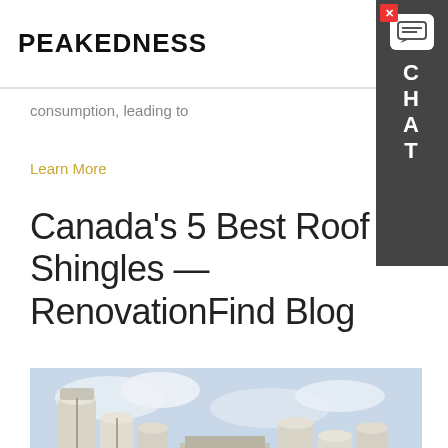PEAKEDNESS   ME
consumption, leading to
Learn More
Canada's 5 Best Roof Shingles — RenovationFind Blog
[Figure (photo): Industrial factory with large white cylindrical silos/tanks and steel structures against a cloudy sky. Chat bubble overlay: 'Hey, we are live 24/7. How may I help you?']